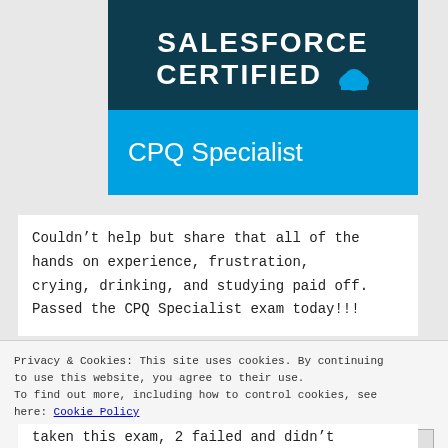[Figure (logo): Salesforce Certified CPQ Specialist badge logo with dark teal background showing 'SALESFORCE CERTIFIED' text with cloud icon, and bright blue lower section showing 'CPQ Specialist']
Couldn't help but share that all of the hands on experience, frustration, crying, drinking, and studying paid off. Passed the CPQ Specialist exam today!!!
Privacy & Cookies: This site uses cookies. By continuing to use this website, you agree to their use. To find out more, including how to control cookies, see here: Cookie Policy
taken this exam, 2 failed and didn't